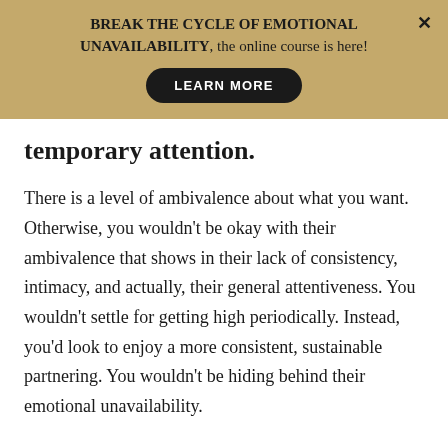BREAK THE CYCLE OF EMOTIONAL UNAVAILABILITY, the online course is here! LEARN MORE
temporary attention.
There is a level of ambivalence about what you want. Otherwise, you wouldn’t be okay with their ambivalence that shows in their lack of consistency, intimacy, and actually, their general attentiveness. You wouldn’t settle for getting high periodically. Instead, you’d look to enjoy a more consistent, sustainable partnering. You wouldn’t be hiding behind their emotional unavailability.